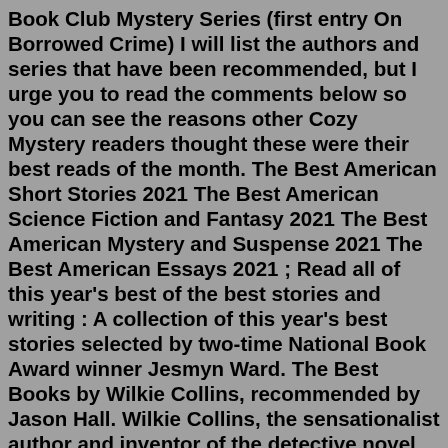Book Club Mystery Series (first entry On Borrowed Crime) I will list the authors and series that have been recommended, but I urge you to read the comments below so you can see the reasons other Cozy Mystery readers thought these were their best reads of the month. The Best American Short Stories 2021 The Best American Science Fiction and Fantasy 2021 The Best American Mystery and Suspense 2021 The Best American Essays 2021 ; Read all of this year's best of the best stories and writing : A collection of this year's best stories selected by two-time National Book Award winner Jesmyn Ward. The Best Books by Wilkie Collins, recommended by Jason Hall. Wilkie Collins, the sensationalist author and inventor of the detective novel, knew precisely how to "make 'em laugh, make 'em cry, make 'em wait". Jason Hall, Victorian literature expert and editor of a new edition of Jezebel's Daughter, chooses the five best books from ... Manansala combines the best aspects of Agatha Christie and Aurora Teagarden for a mystery that is a perfect recipe of cozy, sassy and sh